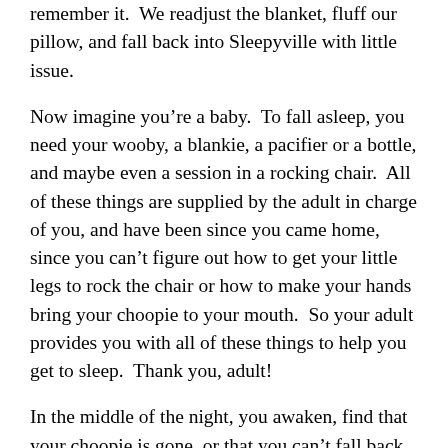remember it.  We readjust the blanket, fluff our pillow, and fall back into Sleepyville with little issue.
Now imagine you're a baby.  To fall asleep, you need your wooby, a blankie, a pacifier or a bottle, and maybe even a session in a rocking chair.  All of these things are supplied by the adult in charge of you, and have been since you came home, since you can't figure out how to get your little legs to rock the chair or how to make your hands bring your choopie to your mouth.  So your adult provides you with all of these things to help you get to sleep.  Thank you, adult!
In the middle of the night, you awaken, find that your choopie is gone, or that you can't fall back asleep.  You look for a bottle, but it's not there.  You try to find your choopie, but that's missing, too.  And for the life of you, you cannot make your crib rock!